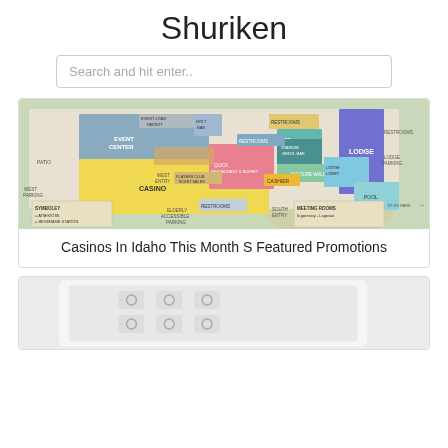Shuriken
Search and hit enter..
[Figure (map): Casino floor plan map showing Event Center, Casino, Lodge, Pool, restrooms, parking areas, and other facilities]
Casinos In Idaho This Month S Featured Promotions
[Figure (photo): Image of a white electronic device with circular buttons/controls]